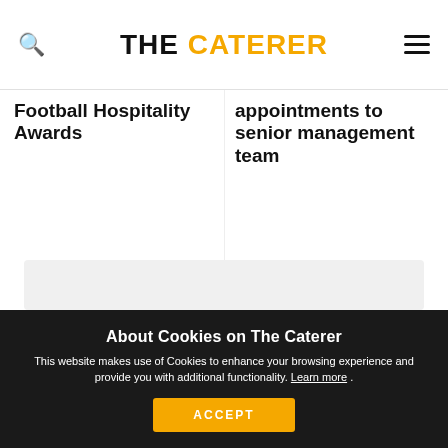THE CATERER
Football Hospitality Awards
appointments to senior management team
About Cookies on The Caterer
This website makes use of Cookies to enhance your browsing experience and provide you with additional functionality. Learn more .
ACCEPT